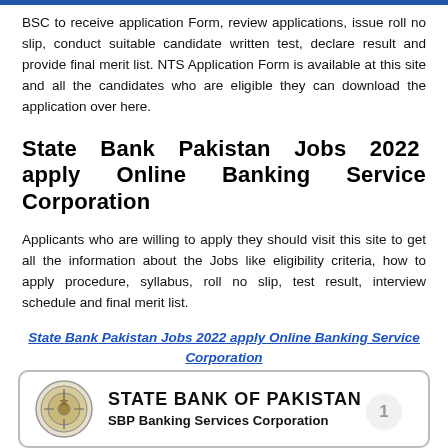BSC to receive application Form, review applications, issue roll no slip, conduct suitable candidate written test, declare result and provide final merit list. NTS Application Form is available at this site and all the candidates who are eligible they can download the application over here.
State Bank Pakistan Jobs 2022 apply Online Banking Service Corporation
Applicants who are willing to apply they should visit this site to get all the information about the Jobs like eligibility criteria, how to apply procedure, syllabus, roll no slip, test result, interview schedule and final merit list.
State Bank Pakistan Jobs 2022 apply Online Banking Service Corporation
[Figure (logo): State Bank of Pakistan SBP Banking Services Corporation logo with circular emblem on left and text on right]